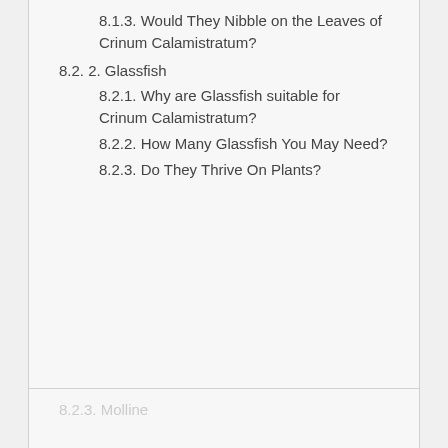8.1.3. Would They Nibble on the Leaves of Crinum Calamistratum?
8.2. 2. Glassfish
8.2.1. Why are Glassfish suitable for Crinum Calamistratum?
8.2.2. How Many Glassfish You May Need?
8.2.3. Do They Thrive On Plants?
8.2.3. Molline